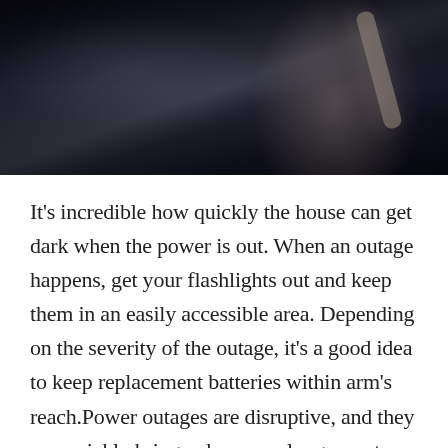[Figure (photo): Dark photograph of a person's hand reaching, possibly toward a refrigerator or cabinet, in a dimly lit room suggesting a power outage scenario.]
It's incredible how quickly the house can get dark when the power is out. When an outage happens, get your flashlights out and keep them in an easily accessible area. Depending on the severity of the outage, it's a good idea to keep replacement batteries within arm's reach.Power outages are disruptive, and they can quickly bring a day — or longer — to a complete standstill. Whether due to weather, equipment maintenance, or a rogue animal